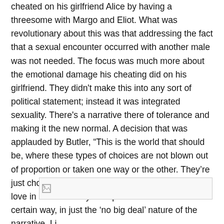cheated on his girlfriend Alice by having a threesome with Margo and Eliot. What was revolutionary about this was that addressing the fact that a sexual encounter occurred with another male was not needed. The focus was much more about the emotional damage his cheating did on his girlfriend. They didn't make this into any sort of political statement; instead it was integrated sexuality. There's a narrative there of tolerance and making it the new normal. A decision that was applauded by Butler, “This is the world that should be, where these types of choices are not blown out of proportion or taken one way or the other. They’re just choices made by people who are choosing to love in a certain way or express themselves in certain way, in just the ‘no big deal’ nature of the narrative. I j
[Figure (other): Broken/placeholder image icon in a bordered rectangle]